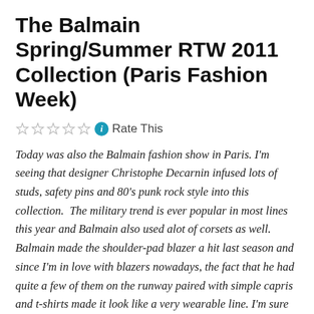The Balmain Spring/Summer RTW 2011 Collection (Paris Fashion Week)
☆☆☆☆☆ ℹ Rate This
Today was also the Balmain fashion show in Paris. I'm seeing that designer Christophe Decarnin infused lots of studs, safety pins and 80's punk rock style into this collection.  The military trend is ever popular in most lines this year and Balmain also used alot of corsets as well. Balmain made the shoulder-pad blazer a hit last season and since I'm in love with blazers nowadays, the fact that he had quite a few of them on the runway paired with simple capris and t-shirts made it look like a very wearable line. I'm sure we're gonna be seeing quite a few knock-offs